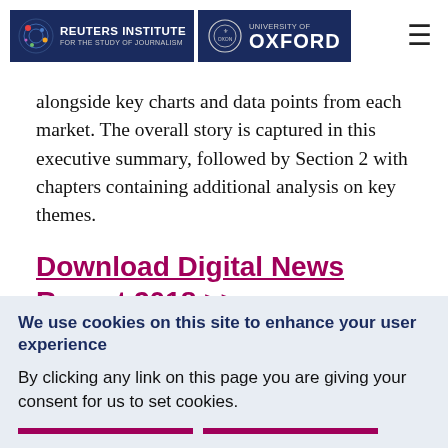Reuters Institute for the Study of Journalism | University of Oxford
alongside key charts and data points from each market. The overall story is captured in this executive summary, followed by Section 2 with chapters containing additional analysis on key themes.
Download Digital News Report 2018 >>
We use cookies on this site to enhance your user experience
By clicking any link on this page you are giving your consent for us to set cookies.